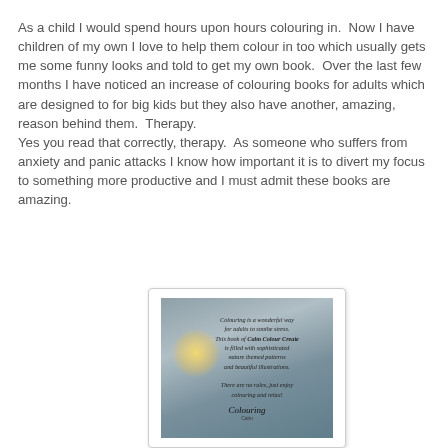As a child I would spend hours upon hours colouring in. Now I have children of my own I love to help them colour in too which usually gets me some funny looks and told to get my own book. Over the last few months I have noticed an increase of colouring books for adults which are designed to for big kids but they also have another, amazing, reason behind them. Therapy.
Yes you read that correctly, therapy. As someone who suffers from anxiety and panic attacks I know how important it is to divert my focus to something more productive and I must admit these books are amazing.
[Figure (photo): A photograph of a page from a colouring book called 'Calm Colour Create', showing printed text describing the book as a wonderful way for adults to soothe stress, filled with sophisticated nature-themed patterns and beautiful illustrations, with a note that there are no rules, just enjoy colouring and relax. A signature is visible at the bottom.]